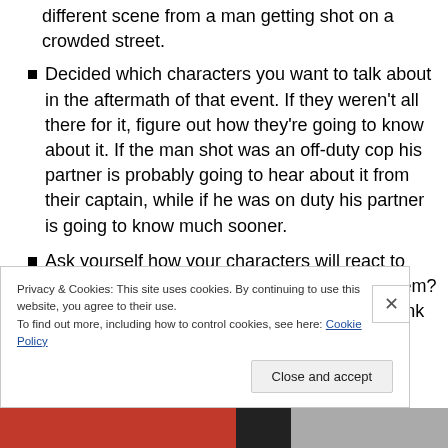different scene from a man getting shot on a crowded street.
Decided which characters you want to talk about in the aftermath of that event. If they weren't all there for it, figure out how they're going to know about it. If the man shot was an off-duty cop his partner is probably going to hear about it from their captain, while if he was on duty his partner is going to know much sooner.
Ask yourself how your characters will react to that event. Was it good for them or bad for them? When setting the beats of your outline you think of them as
Privacy & Cookies: This site uses cookies. By continuing to use this website, you agree to their use.
To find out more, including how to control cookies, see here: Cookie Policy
Close and accept